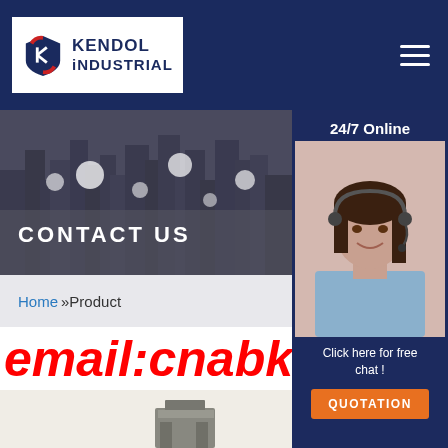[Figure (logo): Kendol Industrial logo with red and blue shield emblem and company name]
[Figure (photo): City aerial photo used as banner background with bright light bokeh effects and text CONTACT US]
CONTACT US
Home »Product
email:cnabke2
[Figure (photo): Female customer service agent wearing headset smiling, with 24/7 Online label, Click here for free chat text, and QUOTATION button]
[Figure (photo): Partial view of a metal industrial product/fitting at the bottom of the page]